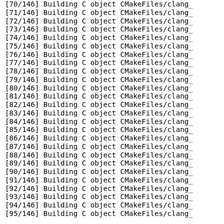[70/146] Building C object CMakeFiles/clang_
[71/146] Building C object CMakeFiles/clang_
[72/146] Building C object CMakeFiles/clang_
[73/146] Building C object CMakeFiles/clang_
[74/146] Building C object CMakeFiles/clang_
[75/146] Building C object CMakeFiles/clang_
[76/146] Building C object CMakeFiles/clang_
[77/146] Building C object CMakeFiles/clang_
[78/146] Building C object CMakeFiles/clang_
[79/146] Building C object CMakeFiles/clang_
[80/146] Building C object CMakeFiles/clang_
[81/146] Building C object CMakeFiles/clang_
[82/146] Building C object CMakeFiles/clang_
[83/146] Building C object CMakeFiles/clang_
[84/146] Building C object CMakeFiles/clang_
[85/146] Building C object CMakeFiles/clang_
[86/146] Building C object CMakeFiles/clang_
[87/146] Building C object CMakeFiles/clang_
[88/146] Building C object CMakeFiles/clang_
[89/146] Building C object CMakeFiles/clang_
[90/146] Building C object CMakeFiles/clang_
[91/146] Building C object CMakeFiles/clang_
[92/146] Building C object CMakeFiles/clang_
[93/146] Building C object CMakeFiles/clang_
[94/146] Building C object CMakeFiles/clang_
[95/146] Building C object CMakeFiles/clang_